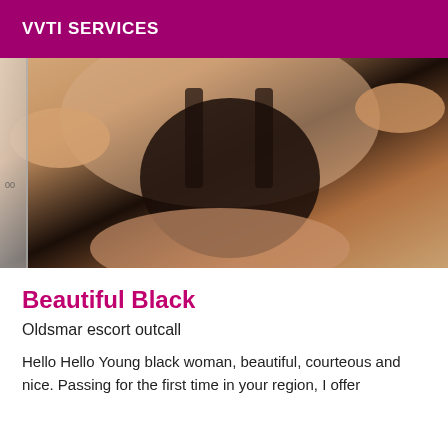VVTI SERVICES
[Figure (photo): Photo of a woman in black lace lingerie taking a mirror selfie, cropped torso shot with warm skin tones]
Beautiful Black
Oldsmar escort outcall
Hello Hello Young black woman, beautiful, courteous and nice. Passing for the first time in your region, I offer